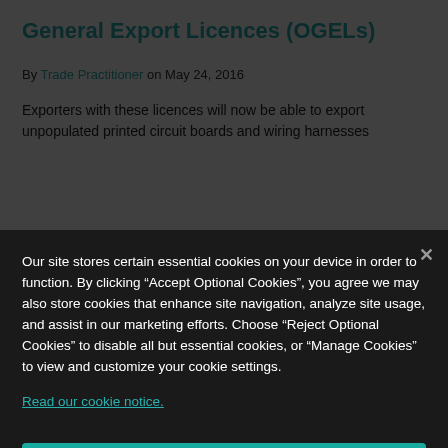General Export Licences (OGELs)
By Trade Practitioner on May 24, 2016
Exporters with these licences will now be able to export unpopulated printed circuit boards and wiring harnesses
Our site stores certain essential cookies on your device in order to function. By clicking “Accept Optional Cookies”, you agree we may also store cookies that enhance site navigation, analyze site usage, and assist in our marketing efforts. Choose “Reject Optional Cookies” to disable all but essential cookies, or “Manage Cookies” to view and customize your cookie settings.
Read our cookie notice.
Manage Cookies
Reject Optional Cookies
Accept Optional Cookies